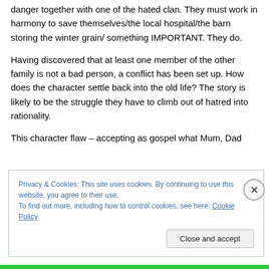danger together with one of the hated clan. They must work in harmony to save themselves/the local hospital/the barn storing the winter grain/ something IMPORTANT. They do.
Having discovered that at least one member of the other family is not a bad person, a conflict has been set up. How does the character settle back into the old life? The story is likely to be the struggle they have to climb out of hatred into rationality.
This character flaw – accepting as gospel what Mum, Dad
Privacy & Cookies: This site uses cookies. By continuing to use this website, you agree to their use.
To find out more, including how to control cookies, see here: Cookie Policy
Close and accept